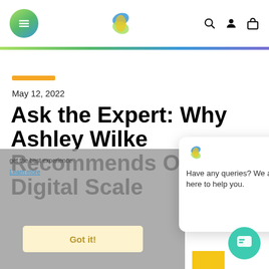Navigation header with menu button, logo, search, account, and bag icons
Ask the Expert: Why Ashley Wilke Recommends Over Digital Scale
May 12, 2022
[Figure (screenshot): Cookie consent overlay with text 'get the best experience', 'Learn more' link, and 'Got it!' button]
[Figure (screenshot): Chat widget popup with logo, close button, and text 'Have any queries? We are here to help you.']
[Figure (screenshot): Teal chat bubble button in bottom right corner]